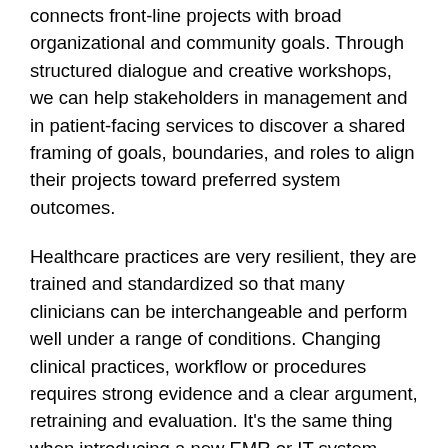connects front-line projects with broad organizational and community goals. Through structured dialogue and creative workshops, we can help stakeholders in management and in patient-facing services to discover a shared framing of goals, boundaries, and roles to align their projects toward preferred system outcomes.
Healthcare practices are very resilient, they are trained and standardized so that many clinicians can be interchangeable and perform well under a range of conditions. Changing clinical practices, workflow or procedures requires strong evidence and a clear argument, retraining and evaluation. It's the same thing when introducing a new EMR or IT system. Healthcare organizations are designed in a sense to resist change; they hold strong norms of practice due to the constant demand to serve their communities. Therefore when consultants (and designers) want to promote innovation and change and they don't live and work inside healthcare — hospitals or practices — their proposals will